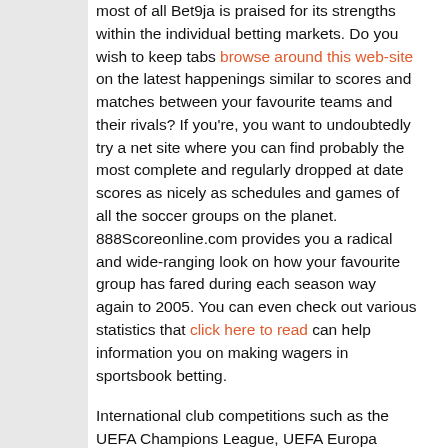most of all Bet9ja is praised for its strengths within the individual betting markets. Do you wish to keep tabs browse around this web-site on the latest happenings similar to scores and matches between your favourite teams and their rivals? If you're, you want to undoubtedly try a net site where you can find probably the most complete and regularly dropped at date scores as nicely as schedules and games of all the soccer groups on the planet. 888Scoreonline.com provides you a radical and wide-ranging look on how your favourite group has fared during each season way again to 2005. You can even check out various statistics that click here to read can help information you on making wagers in sportsbook betting.
International club competitions such as the UEFA Champions League, UEFA Europa League, CONCACAF Champions League, and Copa Sudamericana are a variety of the different prime betting markets on the platform. If you're not disciplined, soccer betting CAN wreck you completely. So, it is silly to assume that football betting doesn't have its dangerous sides. Although